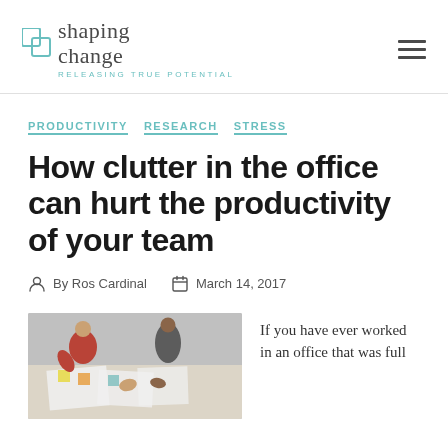shaping change — RELEASING TRUE POTENTIAL
PRODUCTIVITY  RESEARCH  STRESS
How clutter in the office can hurt the productivity of your team
By Ros Cardinal  March 14, 2017
[Figure (photo): People working at a table with papers and sticky notes]
If you have ever worked in an office that was full